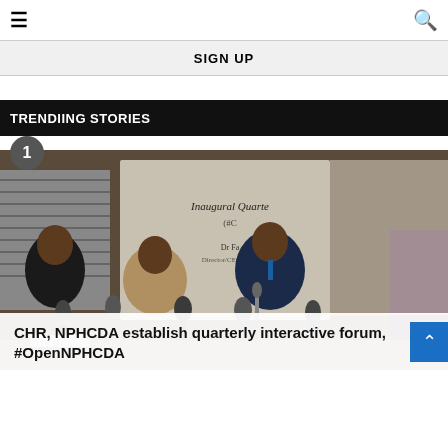≡  🔍
SIGN UP
TRENDIING STORIES
[Figure (photo): Press conference photo showing several men in suits seated at a table with microphones. A banner in the background reads 'Inaugural Quarterly' and 'Dr Fa... Director/CEO Natio...'. News channel microphones are visible in the foreground.]
CHR, NPHCDA establish quarterly interactive forum, #OpenNPHCDA